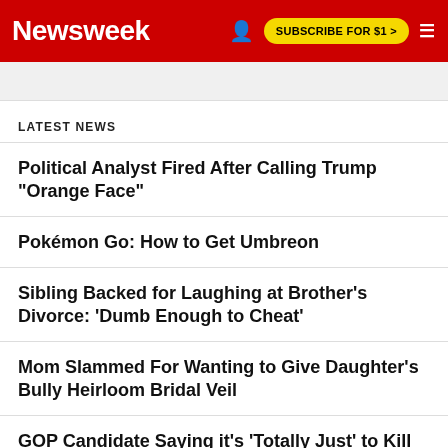Newsweek | SUBSCRIBE FOR $1 >
LATEST NEWS
Political Analyst Fired After Calling Trump "Orange Face"
Pokémon Go: How to Get Umbreon
Sibling Backed for Laughing at Brother's Divorce: 'Dumb Enough to Cheat'
Mom Slammed For Wanting to Give Daughter's Bully Heirloom Bridal Veil
GOP Candidate Saying it's 'Totally Just' to Kill Gay People Resurfaces